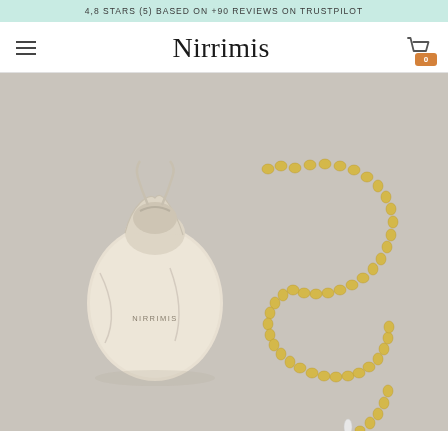4,8 STARS (5) BASED ON +90 REVIEWS ON TRUSTPILOT
Nirrimis
[Figure (photo): Product photo of a gold amber bead necklace laid out next to a small cream-colored drawstring pouch with 'NIRRIMIS' text, on a light gray background.]